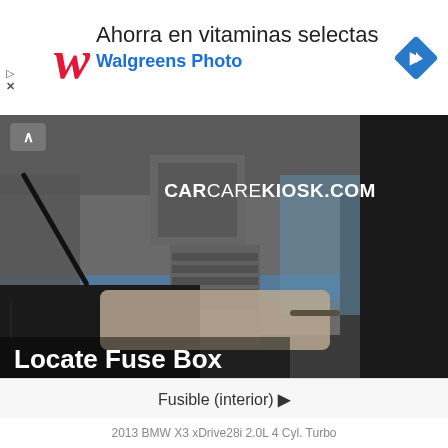[Figure (infographic): Walgreens advertisement banner with script W logo, text 'Ahorra en vitaminas selectas', 'Walgreens Photo' in blue, and a blue diamond navigation arrow icon on the right.]
[Figure (screenshot): CarCareKiosk.com video thumbnail showing interior of a BMW X3 from dashboard perspective, garage/workshop in background, watermark 'CARCAREKIOSK.COM' in upper right, bold white text 'Locate Fuse Box' at bottom left.]
Fusible (interior) ▶
2013 BMW X3 xDrive28i 2.0L 4 Cyl. Turbo